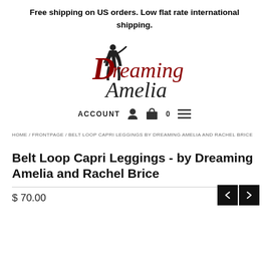Free shipping on US orders. Low flat rate international shipping.
[Figure (logo): Dreaming Amelia logo with stylized red and black text and a silhouette of a person]
ACCOUNT 0
HOME / FRONTPAGE / BELT LOOP CAPRI LEGGINGS BY DREAMING AMELIA AND RACHEL BRICE
Belt Loop Capri Leggings - by Dreaming Amelia and Rachel Brice
$ 70.00